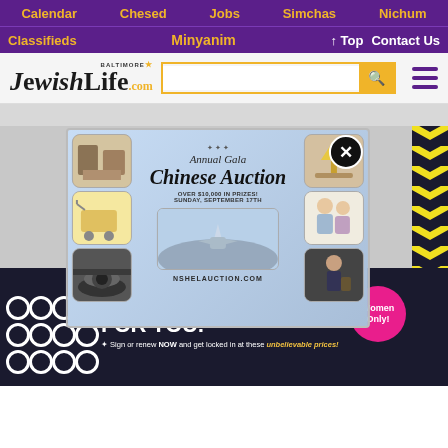Calendar  Chesed  Jobs  Simchas  Nichum
Classifieds  Minyanim  ↑ Top  Contact Us
[Figure (logo): Baltimore Jewish Life .com logo with search bar and hamburger menu]
[Figure (screenshot): Annual Gala Chinese Auction popup advertisement overlay showing images of prizes including car interior, shopping cart, airplane, children, food, and lamp. Text: Annual Gala Chinese Auction, OVER $10,000 IN PRIZES! SUNDAY, SEPTEMBER 17th, NSHELAUCTION.COM]
[Figure (infographic): Bottom advertisement banner with dark background showing circle patterns, Women Only! badge in pink, THIS IS FOR YOU! in large white text, New or Existing Members, Sign or renew NOW and get locked in at these unbelievable prices!]